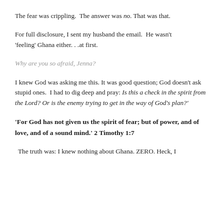The fear was crippling.  The answer was no. That was that.
For full disclosure, I sent my husband the email.  He wasn't 'feeling' Ghana either. . .at first.
Why are you so afraid, Jenna?
I knew God was asking me this. It was good question; God doesn't ask stupid ones.  I had to dig deep and pray: Is this a check in the spirit from the Lord? Or is the enemy trying to get in the way of God's plan?'
'For God has not given us the spirit of fear; but of power, and of love, and of a sound mind.' 2 Timothy 1:7
The truth was: I knew nothing about Ghana. ZERO. Heck, I